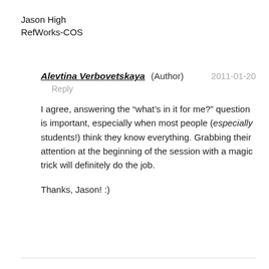Jason High
RefWorks-COS
Alevtina Verbovetskaya (Author)   2011-01-20
  Reply
I agree, answering the “what’s in it for me?” question is important, especially when most people (especially students!) think they know everything. Grabbing their attention at the beginning of the session with a magic trick will definitely do the job.
Thanks, Jason! :)